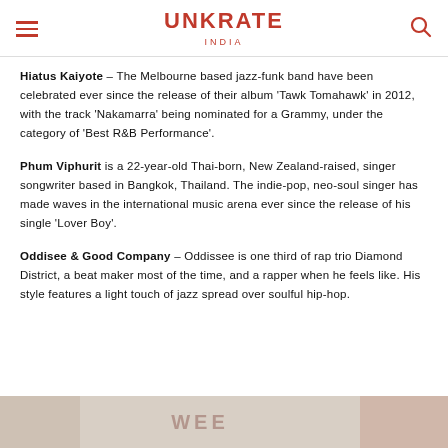UNKRATE INDIA
Hiatus Kaiyote – The Melbourne based jazz-funk band have been celebrated ever since the release of their album 'Tawk Tomahawk' in 2012, with the track 'Nakamarra' being nominated for a Grammy, under the category of 'Best R&B Performance'.
Phum Viphurit is a 22-year-old Thai-born, New Zealand-raised, singer songwriter based in Bangkok, Thailand. The indie-pop, neo-soul singer has made waves in the international music arena ever since the release of his single 'Lover Boy'.
Oddisee & Good Company – Oddissee is one third of rap trio Diamond District, a beat maker most of the time, and a rapper when he feels like. His style features a light touch of jazz spread over soulful hip-hop.
[Figure (photo): Partial image visible at bottom of page, appears to be a music-related event image with WEE text overlay]